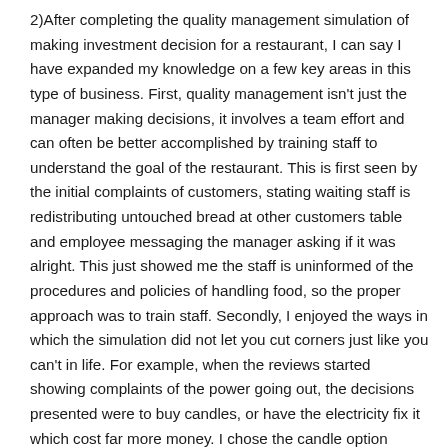2)After completing the quality management simulation of making investment decision for a restaurant, I can say I have expanded my knowledge on a few key areas in this type of business. First, quality management isn't just the manager making decisions, it involves a team effort and can often be better accomplished by training staff to understand the goal of the restaurant. This is first seen by the initial complaints of customers, stating waiting staff is redistributing untouched bread at other customers table and employee messaging the manager asking if it was alright. This just showed me the staff is uninformed of the procedures and policies of handling food, so the proper approach was to train staff. Secondly, I enjoyed the ways in which the simulation did not let you cut corners just like you can't in life. For example, when the reviews started showing complaints of the power going out, the decisions presented were to buy candles, or have the electricity fix it which cost far more money. I chose the candle option because of the fact it was far cheaper and it could ambiance to the restaurant. Although the ratings did increase somewhat and many customers even enjoyed the candles the problem did arise again later, so calling the electricity company then was the better option as the first time it was not properly fixed. Had I made the choice to fix the issue before hand I would have ended up spending less money on fixing the lights. Because situations like that do very well happen to businesses every day, it was an important lesson to me as it shows that sometimes when you try and cut corners or taking an easier way out, it can end up costing you more in the long run. Which goes to show that the choices operation managers must make should not always be the